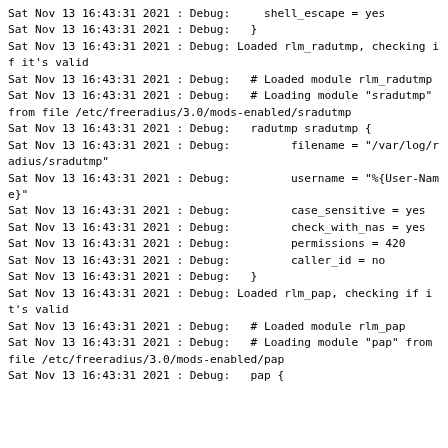Sat Nov 13 16:43:31 2021 : Debug:     shell_escape = yes
Sat Nov 13 16:43:31 2021 : Debug:   }
Sat Nov 13 16:43:31 2021 : Debug: Loaded rlm_radutmp, checking if it's valid
Sat Nov 13 16:43:31 2021 : Debug:   # Loaded module rlm_radutmp
Sat Nov 13 16:43:31 2021 : Debug:   # Loading module "sradutmp" from file /etc/freeradius/3.0/mods-enabled/sradutmp
Sat Nov 13 16:43:31 2021 : Debug:   radutmp sradutmp {
Sat Nov 13 16:43:31 2021 : Debug:         filename = "/var/log/radius/sradutmp"
Sat Nov 13 16:43:31 2021 : Debug:         username = "%{User-Name}"
Sat Nov 13 16:43:31 2021 : Debug:         case_sensitive = yes
Sat Nov 13 16:43:31 2021 : Debug:         check_with_nas = yes
Sat Nov 13 16:43:31 2021 : Debug:         permissions = 420
Sat Nov 13 16:43:31 2021 : Debug:         caller_id = no
Sat Nov 13 16:43:31 2021 : Debug:   }
Sat Nov 13 16:43:31 2021 : Debug: Loaded rlm_pap, checking if it's valid
Sat Nov 13 16:43:31 2021 : Debug:   # Loaded module rlm_pap
Sat Nov 13 16:43:31 2021 : Debug:   # Loading module "pap" from file /etc/freeradius/3.0/mods-enabled/pap
Sat Nov 13 16:43:31 2021 : Debug:   pap {